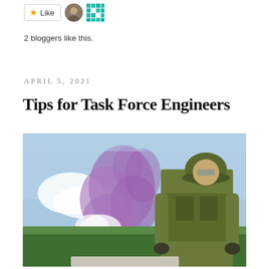[Figure (other): Like button with star icon and two blogger avatar thumbnails]
2 bloggers like this.
APRIL 5, 2021
Tips for Task Force Engineers
[Figure (photo): A soldier in full combat gear and helmet stands in the foreground on the right side, with a large plume of purple/violet smoke billowing behind them on a grassy field under a blue sky.]